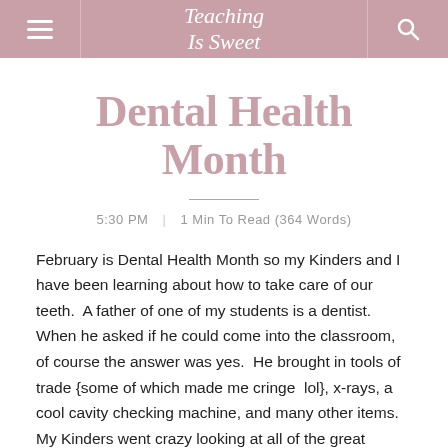Teaching Is Sweet
Dental Health Month
5:30 PM  |  1 Min To Read (364 Words)
February is Dental Health Month so my Kinders and I have been learning about how to take care of our teeth.  A father of one of my students is a dentist.  When he asked if he could come into the classroom, of course the answer was yes.  He brought in tools of trade {some of which made me cringe  lol}, x-rays, a cool cavity checking machine, and many other items.  My Kinders went crazy looking at all of the great